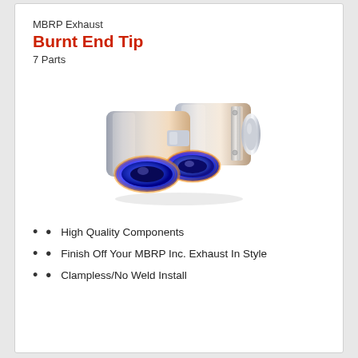MBRP Exhaust
Burnt End Tip
7 Parts
[Figure (photo): Two MBRP exhaust tips with blue burnt/iridescent finish on the ends, stainless steel construction, dual outlet exhaust tip assembly]
High Quality Components
Finish Off Your MBRP Inc. Exhaust In Style
Clampless/No Weld Install